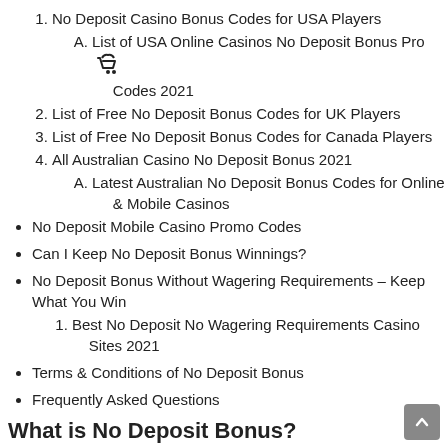1. No Deposit Casino Bonus Codes for USA Players
A. List of USA Online Casinos No Deposit Bonus Promo Codes 2021
2. List of Free No Deposit Bonus Codes for UK Players
3. List of Free No Deposit Bonus Codes for Canada Players
4. All Australian Casino No Deposit Bonus 2021
A. Latest Australian No Deposit Bonus Codes for Online & Mobile Casinos
No Deposit Mobile Casino Promo Codes
Can I Keep No Deposit Bonus Winnings?
No Deposit Bonus Without Wagering Requirements – Keep What You Win
1. Best No Deposit No Wagering Requirements Casino Sites 2021
Terms & Conditions of No Deposit Bonus
Frequently Asked Questions
What is No Deposit Bonus?